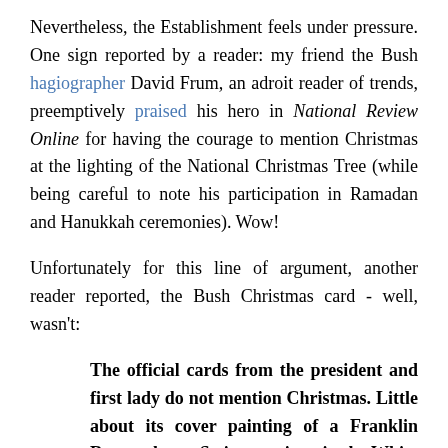Nevertheless, the Establishment feels under pressure. One sign reported by a reader: my friend the Bush hagiographer David Frum, an adroit reader of trends, preemptively praised his hero in National Review Online for having the courage to mention Christmas at the lighting of the National Christmas Tree (while being careful to note his participation in Ramadan and Hanukkah ceremonies). Wow!
Unfortunately for this line of argument, another reader reported, the Bush Christmas card - well, wasn't:
The official cards from the president and first lady do not mention Christmas. Little about its cover painting of a Franklin Roosevelt-era Steinway piano in the White House's Grand Foyer, save red draperies and flowers, calls the holiday to mind. One recipient even mistook it, especially given the card's early